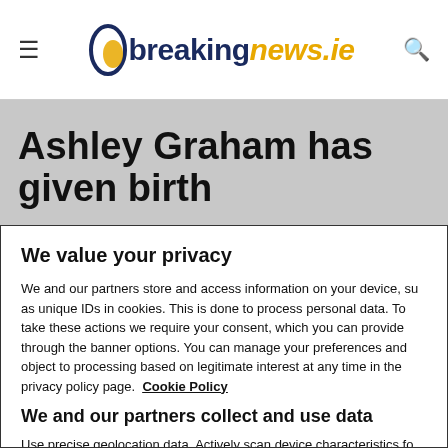breakingnews.ie
Ashley Graham has given birth
We value your privacy
We and our partners store and access information on your device, su as unique IDs in cookies. This is done to process personal data. To take these actions we require your consent, which you can provide through the banner options. You can manage your preferences and object to processing based on legitimate interest at any time in the privacy policy page.  Cookie Policy
We and our partners collect and use data
Use precise geolocation data. Actively scan device characteristics fo identification. Store and/or access information on a device. Personalised ads and content, ad and content measurement, audienc insights and product development.
List of Partners (vendors)